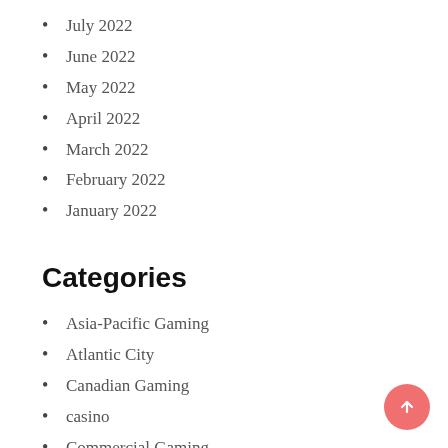July 2022
June 2022
May 2022
April 2022
March 2022
February 2022
January 2022
Categories
Asia-Pacific Gaming
Atlantic City
Canadian Gaming
casino
Commercial Gaming
Coronavirus
Crime